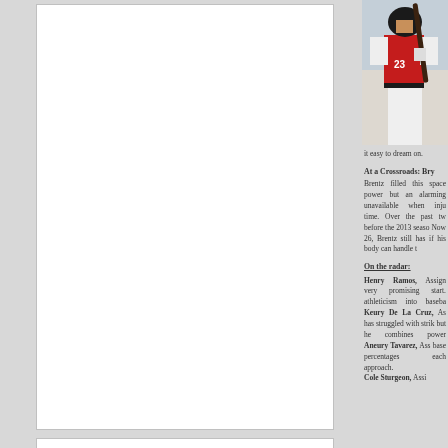[Figure (photo): Baseball player in red and white uniform holding a bat, partial view cropped at top right of page]
it easy to dream on.
At a Crossroads: Bry
Brentz filled this space power but an alarming unavailable when inju time. Over the past tw before the 2013 seaso Now 26, Brentz still has if his body can handle t
On the radar:
Henry Ramos, Assign very promising start. athleticism into baseba Keury De La Cruz, As has struggled with strik but he combines power Aneury Tavarez, Ass base percentages each approach. Cole Sturgeon, Assi
SoxProspects News Staff
Mike Andrews
Chris Hatfield
Ian Cundall